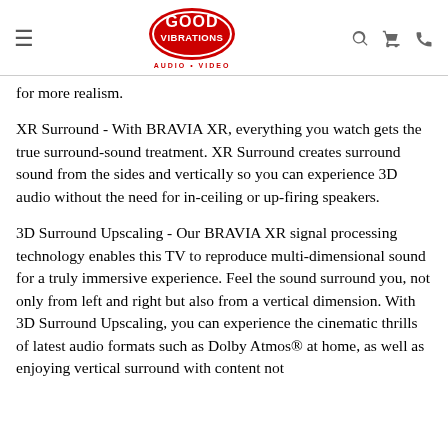Good Vibrations Audio Video - navigation header
for more realism.
XR Surround - With BRAVIA XR, everything you watch gets the true surround-sound treatment. XR Surround creates surround sound from the sides and vertically so you can experience 3D audio without the need for in-ceiling or up-firing speakers.
3D Surround Upscaling - Our BRAVIA XR signal processing technology enables this TV to reproduce multi-dimensional sound for a truly immersive experience. Feel the sound surround you, not only from left and right but also from a vertical dimension. With 3D Surround Upscaling, you can experience the cinematic thrills of latest audio formats such as Dolby Atmos® at home, as well as enjoying vertical surround with content not